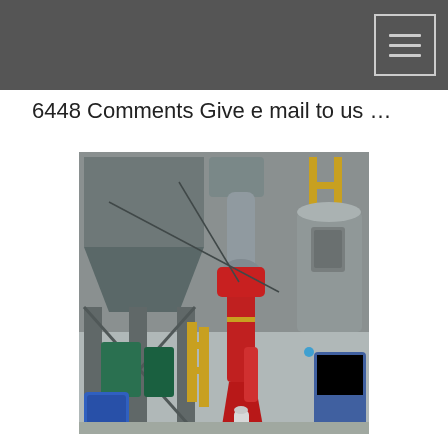6448 Comments Give e mail to us …
[Figure (photo): Industrial photograph showing large industrial machinery including a red robotic arm or loading mechanism, large grey hoppers and silos, ductwork and piping, yellow structural scaffolding, and various industrial equipment in a factory or processing plant setting.]